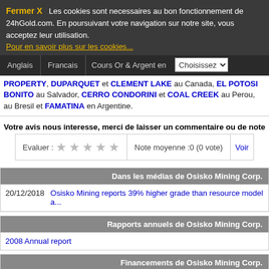Fermer X  Les cookies sont necessaires au bon fonctionnement de 24hGold.com. En poursuivant votre navigation sur notre site, vous acceptez leur utilisation.
Pour en savoir plus sur les cookies...
Anglais | Francais | Cours Or & Argent en | Choisissez
PROPERTY, DUPARQUET et CLEMENT LAKE au Canada, EL POTOSI BONITO au Salvador, CERRO CONDORINI et COAL CREEK au Perou, au Bresil et FAMATINA en Argentine.
Votre avis nous interesse, merci de laisser un commentaire ou de note
Evaluer : ★ ★ ★ ★ ★   Note moyenne :0 (0 vote)   Voir
Dans les médias de Osisko Mining Corp.
20/12/2018   Osisko Mining reports 39% higher grade than resource model a...
Rapports annuels de Osisko Mining Corp.
2008 Annual report
Financements de Osisko Mining Corp.